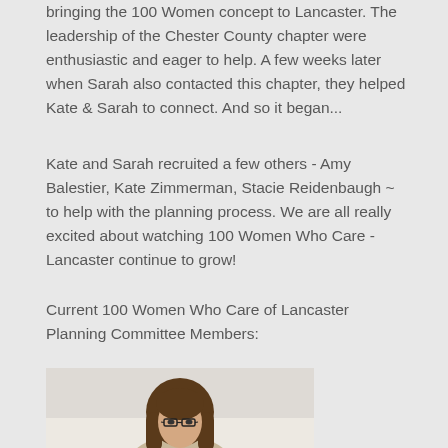bringing the 100 Women concept to Lancaster. The leadership of the Chester County chapter were enthusiastic and eager to help. A few weeks later when Sarah also contacted this chapter, they helped Kate & Sarah to connect. And so it began...
Kate and Sarah recruited a few others - Amy Balestier, Kate Zimmerman, Stacie Reidenbaugh ~ to help with the planning process. We are all really excited about watching 100 Women Who Care - Lancaster continue to grow!
Current 100 Women Who Care of Lancaster Planning Committee Members:
[Figure (photo): Portrait photo of a woman with long brown hair and glasses, against a light background]